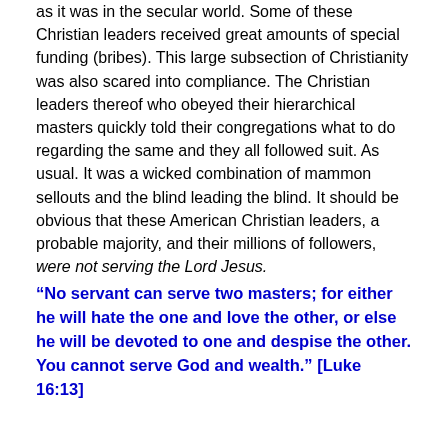as it was in the secular world. Some of these Christian leaders received great amounts of special funding (bribes). This large subsection of Christianity was also scared into compliance. The Christian leaders thereof who obeyed their hierarchical masters quickly told their congregations what to do regarding the same and they all followed suit. As usual. It was a wicked combination of mammon sellouts and the blind leading the blind. It should be obvious that these American Christian leaders, a probable majority, and their millions of followers, were not serving the Lord Jesus.
“No servant can serve two masters; for either he will hate the one and love the other, or else he will be devoted to one and despise the other. You cannot serve God and wealth.” [Luke 16:13]